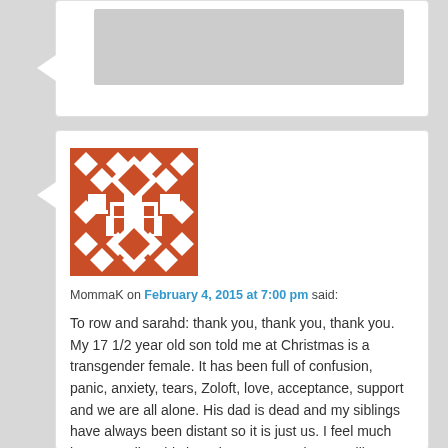[Figure (other): Partial comment block at top with gray placeholder image]
[Figure (illustration): WordPress-style geometric avatar for user MommaK - red/white diamond and square pattern]
MommaK on February 4, 2015 at 7:00 pm said:
To row and sarahd: thank you, thank you, thank you. My 17 1/2 year old son told me at Christmas is a transgender female. It has been full of confusion, panic, anxiety, tears, Zoloft, love, acceptance, support and we are all alone. His dad is dead and my siblings have always been distant so it is just us. I feel much better reading this knowing I am not alone. I will support my son to the limit even though I still fear the pain I might go through. I worry for him because it seems less common for the MtF and I worry for safety reasons. I am trying to get the therapy started but